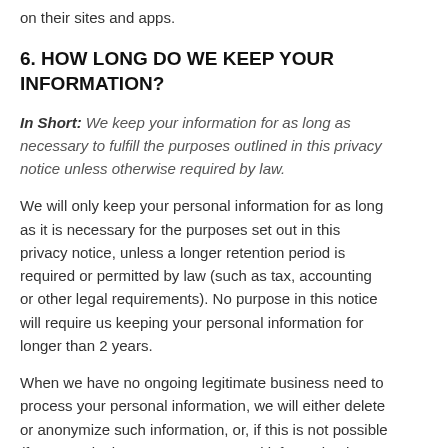on their sites and apps.
6. HOW LONG DO WE KEEP YOUR INFORMATION?
In Short:  We keep your information for as long as necessary to fulfill the purposes outlined in this privacy notice unless otherwise required by law.
We will only keep your personal information for as long as it is necessary for the purposes set out in this privacy notice, unless a longer retention period is required or permitted by law (such as tax, accounting or other legal requirements). No purpose in this notice will require us keeping your personal information for longer than 2 years.
When we have no ongoing legitimate business need to process your personal information, we will either delete or anonymize such information, or, if this is not possible (for example, because your personal information has been